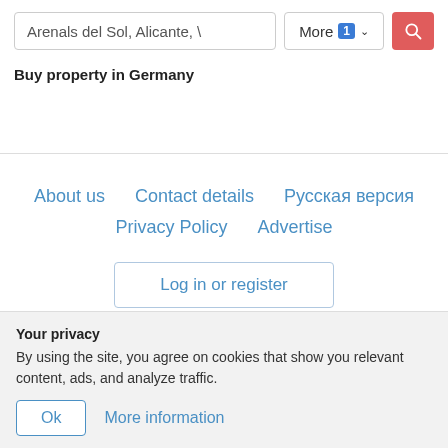[Figure (screenshot): Search bar with text 'Arenals del Sol, Alicante, \', a 'More 1' dropdown button, and a red search icon button]
Buy property in Germany
About us   Contact details   Русская версия
Privacy Policy   Advertise
Log in or register
Your privacy
By using the site, you agree on cookies that show you relevant content, ads, and analyze traffic.
Ok   More information